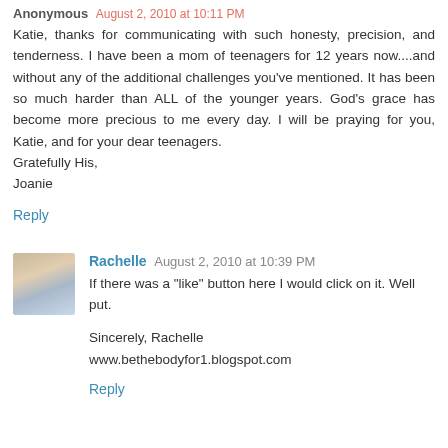Anonymous August 2, 2010 at 10:11 PM
Katie, thanks for communicating with such honesty, precision, and tenderness. I have been a mom of teenagers for 12 years now....and without any of the additional challenges you've mentioned. It has been so much harder than ALL of the younger years. God's grace has become more precious to me every day. I will be praying for you, Katie, and for your dear teenagers.
Gratefully His,
Joanie
Reply
Rachelle August 2, 2010 at 10:39 PM
If there was a "like" button here I would click on it. Well put.
Sincerely, Rachelle
www.bethebodyfor1.blogspot.com
Reply